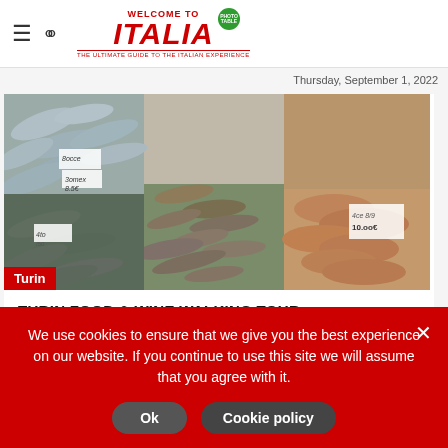WELCOME TO ITALIA - THE ULTIMATE GUIDE TO THE ITALIAN EXPERIENCE
Thursday, September 1, 2022
[Figure (photo): Fish and seafood market display with various fish, shrimp, and anchovies laid out in trays with handwritten price labels. A red label in the bottom-left corner reads 'Turin'.]
TURIN FOOD & WINE WALKING TOUR
69.00 EUR /person
Duration: 3 hours
We use cookies to ensure that we give you the best experience on our website. If you continue to use this site we will assume that you agree with it.